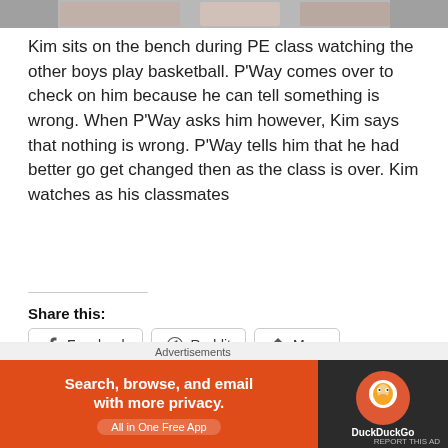[Figure (photo): Partial photo strip at top of page showing people]
Kim sits on the bench during PE class watching the other boys play basketball. P'Way comes over to check on him because he can tell something is wrong. When P'Way asks him however, Kim says that nothing is wrong. P'Way tells him that he had better go get changed then as the class is over. Kim watches as his classmates
Share this:
Facebook  Reddit  More
Like this:
Loading...
Advertisements
[Figure (screenshot): DuckDuckGo advertisement banner: 'Search, browse, and email with more privacy. All in One Free App' with DuckDuckGo logo on dark background]